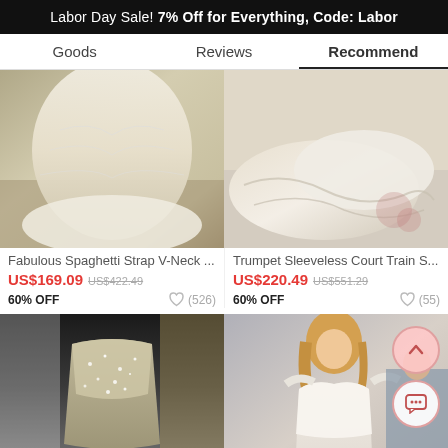Labor Day Sale! 7% Off for Everything, Code: Labor
Goods   Reviews   Recommend
[Figure (photo): White wedding dress bottom/train outdoors on ground]
[Figure (photo): Close-up of white wedding dress fabric/train laid out]
Fabulous Spaghetti Strap V-Neck ...
Trumpet Sleeveless Court Train S...
US$169.09  US$422.49  60% OFF  ♡ (526)
US$220.49  US$551.29  60% OFF  ♡ (55)
[Figure (photo): Strapless beaded/crystal wedding dress on mannequin in store]
[Figure (photo): Woman in off-shoulder lace wedding dress with bridesmaid]
Get $5 off for your first order!
CLAIM NOW
♡  42   ADD TO BAG